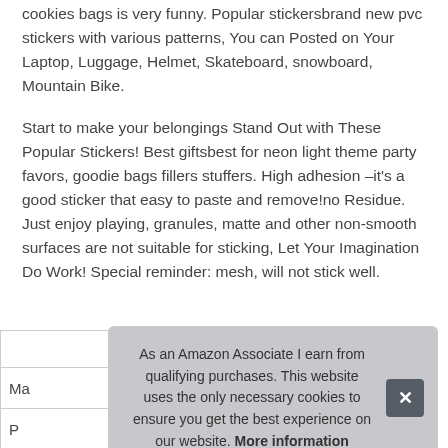cookies bags is very funny. Popular stickersbrand new pvc stickers with various patterns, You can Posted on Your Laptop, Luggage, Helmet, Skateboard, snowboard, Mountain Bike.
Start to make your belongings Stand Out with These Popular Stickers! Best giftsbest for neon light theme party favors, goodie bags fillers stuffers. High adhesion –it's a good sticker that easy to paste and remove!no Residue. Just enjoy playing, granules, matte and other non-smooth surfaces are not suitable for sticking, Let Your Imagination Do Work! Special reminder: mesh, will not stick well.
|  |
| Ma |
| P |
As an Amazon Associate I earn from qualifying purchases. This website uses the only necessary cookies to ensure you get the best experience on our website. More information